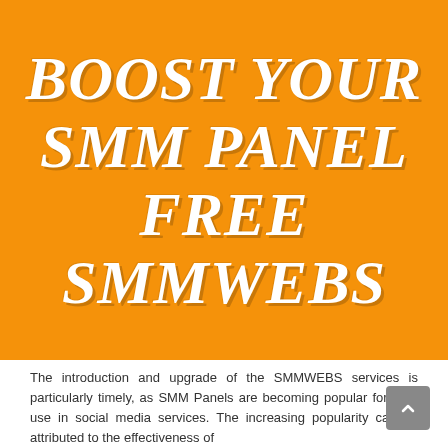[Figure (illustration): Orange banner with bold white italic serif text reading BOOST YOUR SMM PANEL FREE SMMWEBS on a bright orange background]
The introduction and upgrade of the SMMWEBS services is particularly timely, as SMM Panels are becoming popular for their use in social media services. The increasing popularity can be attributed to the effectiveness of